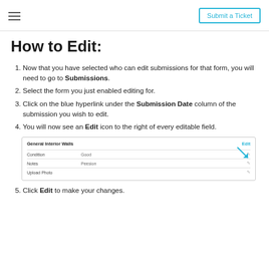Submit a Ticket
How to Edit:
Now that you have selected who can edit submissions for that form, you will need to go to Submissions.
Select the form you just enabled editing for.
Click on the blue hyperlink under the Submission Date column of the submission you wish to edit.
You will now see an Edit icon to the right of every editable field.
[Figure (screenshot): Screenshot showing a form submission view with General Interior Walls section, an Edit link in blue with an arrow pointing to it, and fields for Condition, Notes, and Upload Photo with edit icons.]
Click Edit to make your changes.